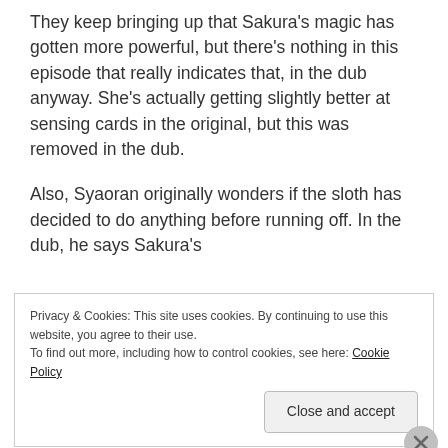They keep bringing up that Sakura's magic has gotten more powerful, but there's nothing in this episode that really indicates that, in the dub anyway. She's actually getting slightly better at sensing cards in the original, but this was removed in the dub.
Also, Syaoran originally wonders if the sloth has decided to do anything before running off. In the dub, he says Sakura's
Privacy & Cookies: This site uses cookies. By continuing to use this website, you agree to their use.
To find out more, including how to control cookies, see here: Cookie Policy
Close and accept